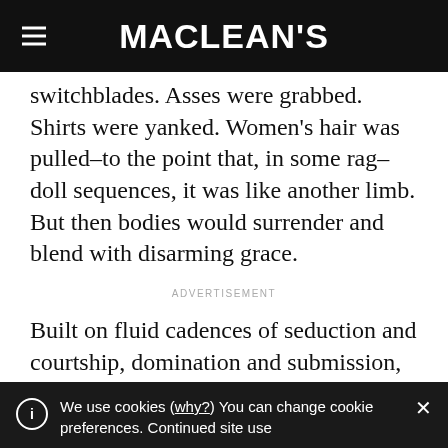MACLEAN'S
switchblades. Asses were grabbed. Shirts were yanked. Women's hair was pulled–to the point that, in some rag–doll sequences, it was like another limb. But then bodies would surrender and blend with disarming grace.
ADVERTISEMENT
Built on fluid cadences of seduction and courtship, domination and submission, the
We use cookies (why?) You can change cookie preferences. Continued site use